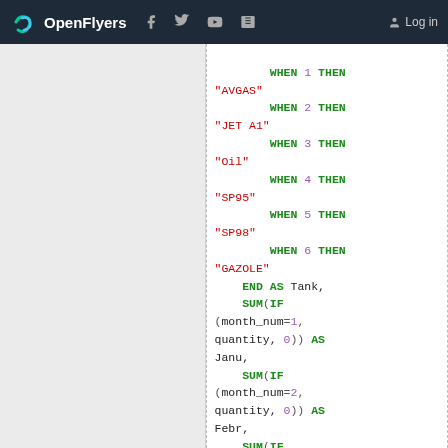OpenFlyers — navigation bar with logo, social icons, Log in
[Figure (screenshot): SQL code snippet showing a CASE WHEN expression with WHEN 1 THEN 'AVGAS', WHEN 2 THEN 'JET A1', WHEN 3 THEN 'Oil', WHEN 4 THEN 'SP95', WHEN 5 THEN 'SP98', WHEN 6 THEN 'GAZOLE', END AS Tank, followed by SUM(IF(month_num=1, quantity, 0)) AS Janu, SUM(IF(month_num=2, quantity, 0)) AS Febr, SUM(IF(month_num=3, quantity, 0)) AS Marc, SUM(IF(month_num=4, ...))]